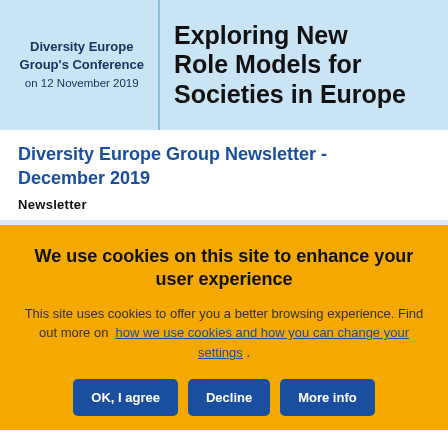[Figure (other): Diversity Europe Group's Conference banner with light blue background. Left side reads 'Diversity Europe Group's Conference on 12 November 2019'. Right side in large bold text reads 'Exploring New Role Models for Societies in Europe'.]
Diversity Europe Group Newsletter - December 2019
Newsletter
We use cookies on this site to enhance your user experience
This site uses cookies to offer you a better browsing experience. Find out more on how we use cookies and how you can change your settings .
OK, I agree  Decline  More info